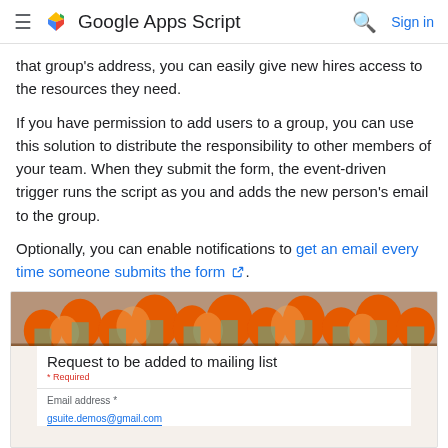Google Apps Script
that group's address, you can easily give new hires access to the resources they need.
If you have permission to add users to a group, you can use this solution to distribute the responsibility to other members of your team. When they submit the form, the event-driven trigger runs the script as you and adds the new person's email to the group.
Optionally, you can enable notifications to get an email every time someone submits the form.
[Figure (screenshot): Screenshot of a Google Form titled 'Request to be added to mailing list' with a decorative banner, a Required note, and an Email address field pre-filled with gsuite.demos@gmail.com]